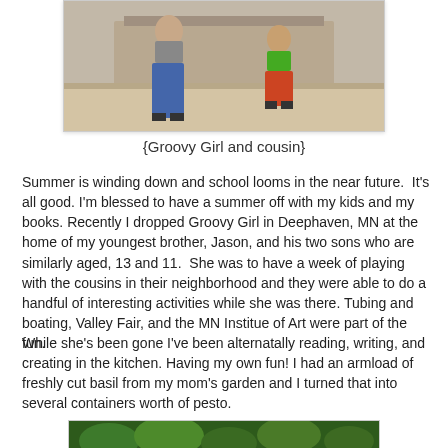[Figure (photo): Photo of Groovy Girl and cousin standing together, partial view showing lower bodies and a wooden shelf/dresser in background]
{Groovy Girl and cousin}
Summer is winding down and school looms in the near future.  It's all good. I'm blessed to have a summer off with my kids and my books. Recently I dropped Groovy Girl in Deephaven, MN at the home of my youngest brother, Jason, and his two sons who are similarly aged, 13 and 11.  She was to have a week of playing with the cousins in their neighborhood and they were able to do a handful of interesting activities while she was there. Tubing and boating, Valley Fair, and the MN Institue of Art were part of the fun.
While she's been gone I've been alternatally reading, writing, and creating in the kitchen. Having my own fun! I had an armload of freshly cut basil from my mom's garden and I turned that into several containers worth of pesto.
[Figure (photo): Bottom partial photo showing green plants/basil from mom's garden]